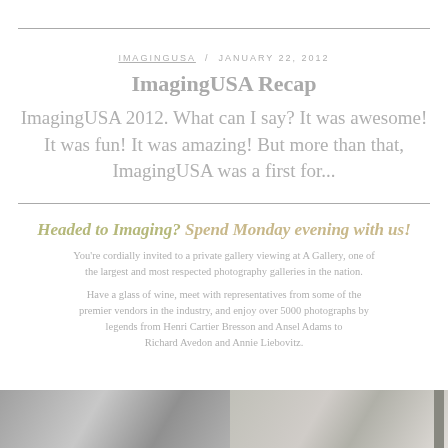IMAGINGUSA / JANUARY 22, 2012
ImagingUSA Recap
ImagingUSA 2012. What can I say? It was awesome! It was fun! It was amazing! But more than that, ImagingUSA was a first for...
Headed to Imaging? Spend Monday evening with us!
You're cordially invited to a private gallery viewing at A Gallery, one of the largest and most respected photography galleries in the nation.
Have a glass of wine, meet with representatives from some of the premier vendors in the industry, and enjoy over 5000 photographs by legends from Henri Cartier Bresson and Ansel Adams to Richard Avedon and Annie Liebovitz.
[Figure (photo): Strip of two black and white photographs at the bottom of the page]